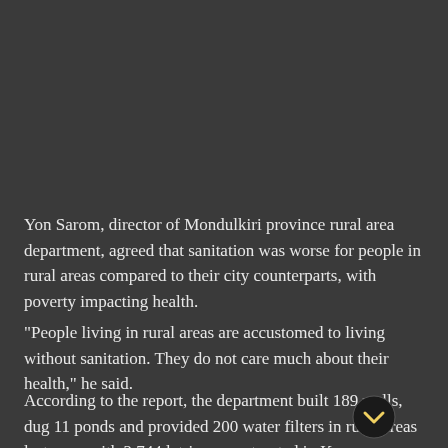Yon Sarom, director of Mondulkiri province rural area department, agreed that sanitation was worse for people in rural areas compared to their city counterparts, with poverty impacting health.
"People living in rural areas are accustomed to living without sanitation. They do not care much about their health," he said.
According to the report, the department built 189 wells, dug 11 ponds and provided 200 water filters in rural areas last year, with 2,744 latrines constructed in Kampong Chhnang, Kampong Speu and Prey Veng provinces.